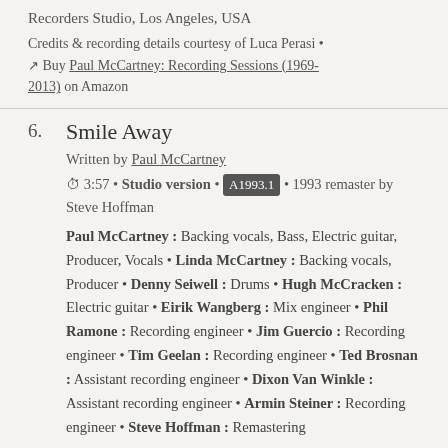Recorders Studio, Los Angeles, USA
Credits & recording details courtesy of Luca Perasi • ↗ Buy Paul McCartney: Recording Sessions (1969-2013) on Amazon
6. Smile Away
Written by Paul McCartney
⏱ 3:57 • Studio version • A1993.1 • 1993 remaster by Steve Hoffman
Paul McCartney : Backing vocals, Bass, Electric guitar, Producer, Vocals • Linda McCartney : Backing vocals, Producer • Denny Seiwell : Drums • Hugh McCracken : Electric guitar • Eirik Wangberg : Mix engineer • Phil Ramone : Recording engineer • Jim Guercio : Recording engineer • Tim Geelan : Recording engineer • Ted Brosnan : Assistant recording engineer • Dixon Van Winkle : Assistant recording engineer • Armin Steiner : Recording engineer • Steve Hoffman : Remastering